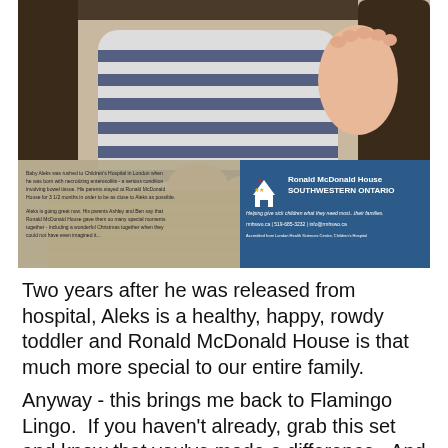[Figure (photo): Photo of a baby/toddler sitting on a wicker chair wearing a navy blue and white striped outfit. Below the photo is an advertisement overlay for Ronald McDonald House Southwestern Ontario with text about Baby Aleks who was rushed to Children's Hospital in London, and the Ronald McDonald House logo and contact information.]
Two years after he was released from hospital, Aleks is a healthy, happy, rowdy toddler and Ronald McDonald House is that much more special to our entire family.
Anyway - this brings me back to Flamingo Lingo.  If you haven't already, grab this set and know that you've made a difference.  And when it arrives, you can whip up those three